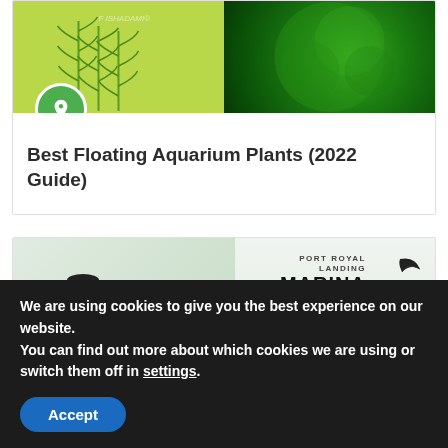[Figure (photo): Card with aquarium plants image split into two halves: left side shows illustrated blue-green plant on lime green background, right side shows photo of bright green moss/algae. A green pin badge overlays the bottom-left of the image.]
Best Floating Aquarium Plants (2022 Guide)
[Figure (photo): Card showing spherical aquarium globe terrariums on stands on the left, and on the right the Port Royal Landing Marina logo with a boat/dolphin graphic, plus a hydroponics/plants setup in background.]
We are using cookies to give you the best experience on our website.
You can find out more about which cookies we are using or switch them off in settings.
Accept